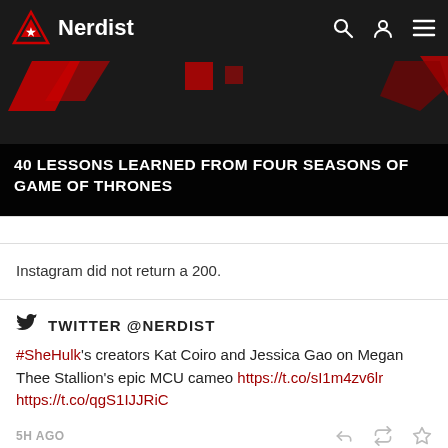Nerdist
[Figure (screenshot): Hero image with red geometric shapes on dark background, with article title overlay: 40 LESSONS LEARNED FROM FOUR SEASONS OF GAME OF THRONES]
40 LESSONS LEARNED FROM FOUR SEASONS OF GAME OF THRONES
Instagram did not return a 200.
TWITTER @NERDIST
#SheHulk's creators Kat Coiro and Jessica Gao on Megan Thee Stallion's epic MCU cameo https://t.co/sI1m4zv6lr https://t.co/qgS1IJJRiC
5H AGO
FOLLOW US ON TWITTER